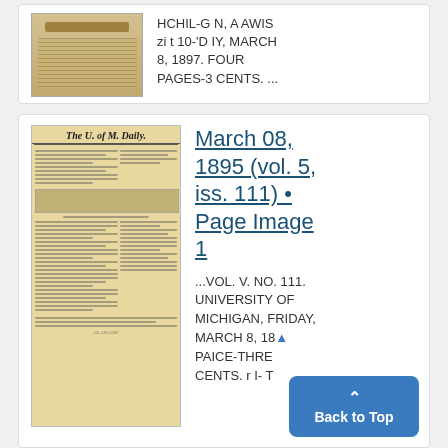[Figure (photo): Thumbnail image of a historical newspaper page (yellowed/aged), shown partially at top of first card]
HCHIL-G N, A AWIS zi t 10-'D IY, MARCH 8, 1897. FOUR PAGES-3 CENTS. ...
[Figure (photo): Thumbnail of 'The U. of M. Daily' newspaper front page from March 08, 1895 (vol. 5, iss. 111), aged yellowed paper with columns of text and a small illustration]
March 08, 1895 (vol. 5, iss. 111) • Page Image 1
...VOL. V. NO. 111. UNIVERSITY OF MICHIGAN, FRIDAY, MARCH 8, 18... PAICE-THRE... CENTS. r I- T...